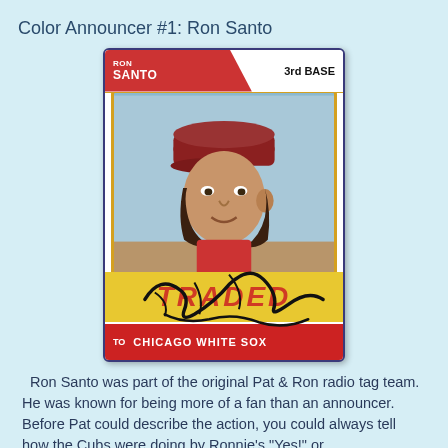Color Announcer #1: Ron Santo
[Figure (photo): A vintage 1974 Topps Traded baseball card of Ron Santo, signed with autograph. The card shows Ron Santo wearing a red cap, labeled '3rd BASE'. The card has a yellow 'TRADED' banner and a red bottom banner reading 'TO CHICAGO WHITE SOX'. The card has Ron Santo's signature across the front.]
Ron Santo was part of the original Pat & Ron radio tag team. He was known for being more of a fan than an announcer. Before Pat could describe the action, you could always tell how the Cubs were doing by Ronnie's "Yes!" or